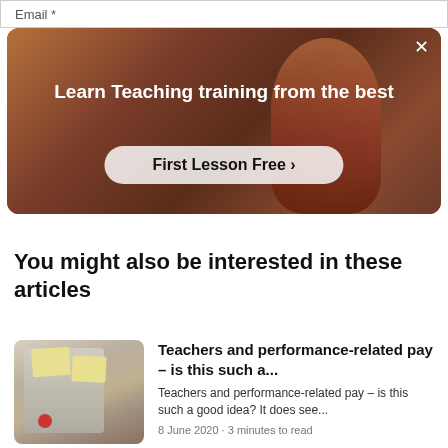Email *
[Figure (photo): Promotional banner showing a person in a room with text overlay 'Learn Teaching training from the best' and a 'First Lesson Free' button]
You might also be interested in these articles
[Figure (photo): Article thumbnail showing a projector or machine with yellow sticky notes attached]
Teachers and performance-related pay – is this such a...
Teachers and performance-related pay – is this such a good idea? It does see...
8 June 2020 · 3 minutes to read